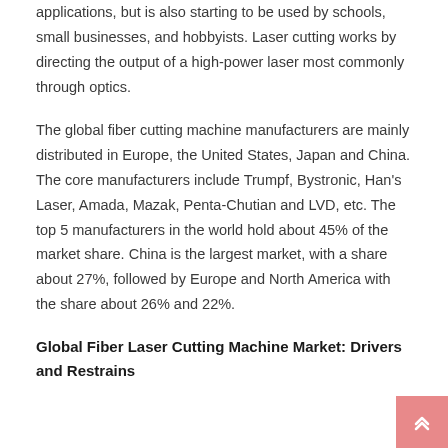applications, but is also starting to be used by schools, small businesses, and hobbyists. Laser cutting works by directing the output of a high-power laser most commonly through optics.
The global fiber cutting machine manufacturers are mainly distributed in Europe, the United States, Japan and China. The core manufacturers include Trumpf, Bystronic, Han's Laser, Amada, Mazak, Penta-Chutian and LVD, etc. The top 5 manufacturers in the world hold about 45% of the market share. China is the largest market, with a share about 27%, followed by Europe and North America with the share about 26% and 22%.
Global Fiber Laser Cutting Machine Market: Drivers and Restrains